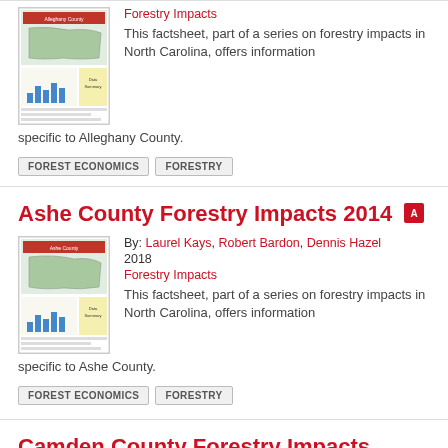[Figure (screenshot): Thumbnail image of Alleghany County Forestry Impacts factsheet]
Forestry Impacts
This factsheet, part of a series on forestry impacts in North Carolina, offers information specific to Alleghany County.
FOREST ECONOMICS
FORESTRY
Ashe County Forestry Impacts 2014
[Figure (screenshot): Thumbnail image of Ashe County Forestry Impacts factsheet]
By: Laurel Kays, Robert Bardon, Dennis Hazel
2018
Forestry Impacts
This factsheet, part of a series on forestry impacts in North Carolina, offers information specific to Ashe County.
FOREST ECONOMICS
FORESTRY
Camden County Forestry Impacts 2014